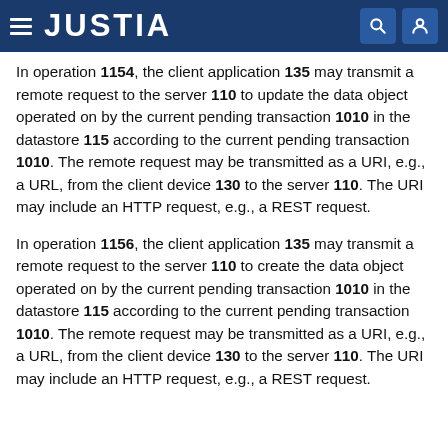JUSTIA
In operation 1154, the client application 135 may transmit a remote request to the server 110 to update the data object operated on by the current pending transaction 1010 in the datastore 115 according to the current pending transaction 1010. The remote request may be transmitted as a URI, e.g., a URL, from the client device 130 to the server 110. The URI may include an HTTP request, e.g., a REST request.
In operation 1156, the client application 135 may transmit a remote request to the server 110 to create the data object operated on by the current pending transaction 1010 in the datastore 115 according to the current pending transaction 1010. The remote request may be transmitted as a URI, e.g., a URL, from the client device 130 to the server 110. The URI may include an HTTP request, e.g., a REST request.